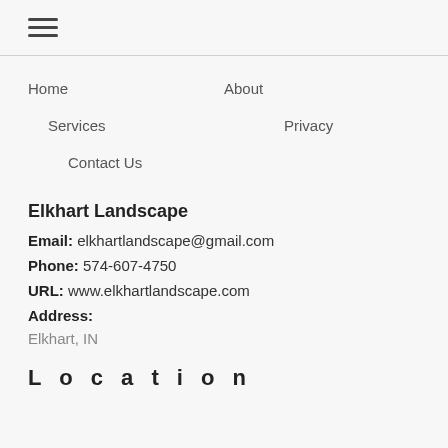[Figure (other): Hamburger menu icon with three horizontal lines]
Home
About
Services
Privacy
Contact Us
Elkhart Landscape
Email: elkhartlandscape@gmail.com
Phone: 574-607-4750
URL: www.elkhartlandscape.com
Address:
Elkhart, IN
Location